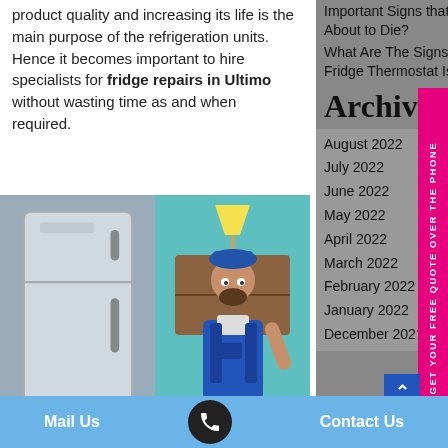product quality and increasing its life is the main purpose of the refrigeration units. Hence it becomes important to hire specialists for fridge repairs in Ultimo without wasting time as and when required.
[Figure (illustration): Illustration of a refrigerator on the left and a smiling male technician/worker in blue overalls on the right, with a lamp in the background.]
Important Signs that Your Refrigerator Is About to Die?
What Are The Signs That Indicates Your Fridge Thermostat Is Malfunctioning?
Archives
August 2022
July 2022
June 2022
May 2022
April 2022
March 2022
February 2022
January 2022
December 2021
Mail Us   Contact Us